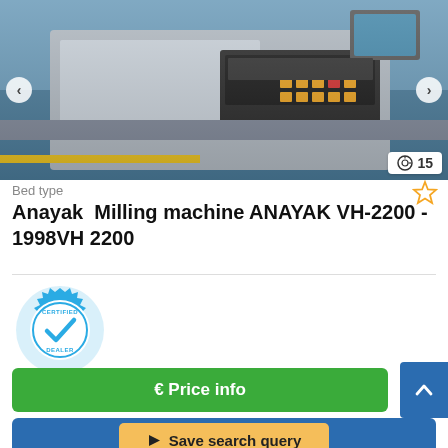[Figure (photo): CNC milling machine control panel with keyboard and buttons, industrial machine tool shown in a product listing image with navigation arrows and photo counter showing 15 photos]
Bed type
Anayak  Milling machine ANAYAK VH-2200 - 1998VH 2200
[Figure (logo): Certified Dealer badge — circular teal/blue gear-shaped emblem with checkmark and text CERTIFIED DEALER]
€ Price info
Save search query
Burgos, Spain